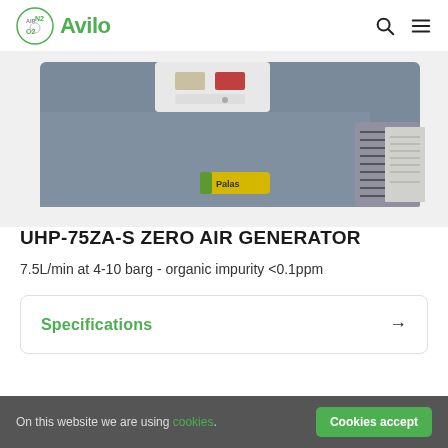Avilo - Air N2 O2
[Figure (photo): UHP-75ZA-S Zero Air Generator product photo showing a grey/blue rectangular unit with ventilation grilles on the side and a yellow Palas brand sticker, viewed from a slight angle above.]
UHP-75ZA-S ZERO AIR GENERATOR
7.5L/min at 4-10 barg - organic impurity <0.1ppm
Specifications →
On this website we are using cookies. Cookies accept